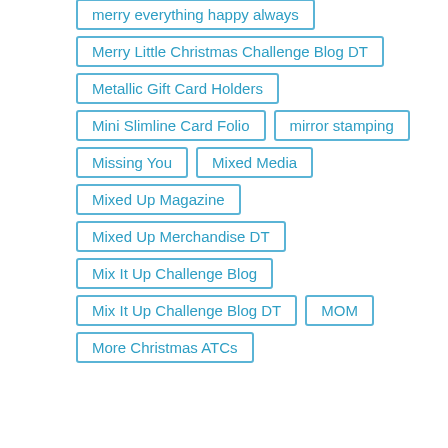Merry Christmoose
merry everything happy always
Merry Little Christmas Challenge Blog DT
Metallic Gift Card Holders
Mini Slimline Card Folio
mirror stamping
Missing You
Mixed Media
Mixed Up Magazine
Mixed Up Merchandise DT
Mix It Up Challenge Blog
Mix It Up Challenge Blog DT
MOM
More Christmas ATCs